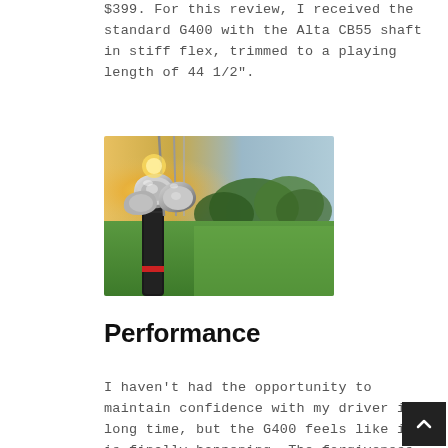$399. For this review, I received the standard G400 with the Alta CB55 shaft in stiff flex, trimmed to a playing length of 44 1/2".
[Figure (photo): Photograph of golf clubs in a bag with a golf course and sunset in the background.]
Performance
I haven't had the opportunity to maintain confidence with my driver in a long time, but the G400 feels like it is finally happening. The forgiveness is simply incredible. PING states